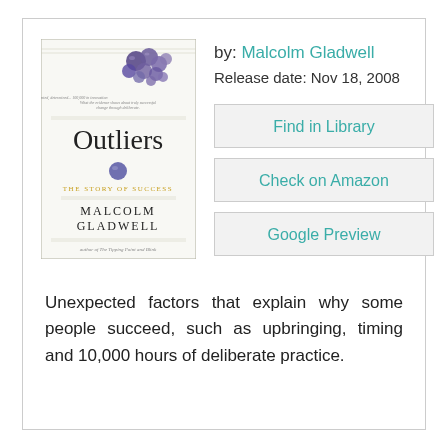[Figure (illustration): Book cover of 'Outliers: The Story of Success' by Malcolm Gladwell, featuring a cluster of purple/blue spheres at the top and a single marble/sphere in the center, with the title in large serif font and subtitle 'The Story of Success'.]
by: Malcolm Gladwell
Release date: Nov 18, 2008
Find in Library
Check on Amazon
Google Preview
Unexpected factors that explain why some people succeed, such as upbringing, timing and 10,000 hours of deliberate practice.